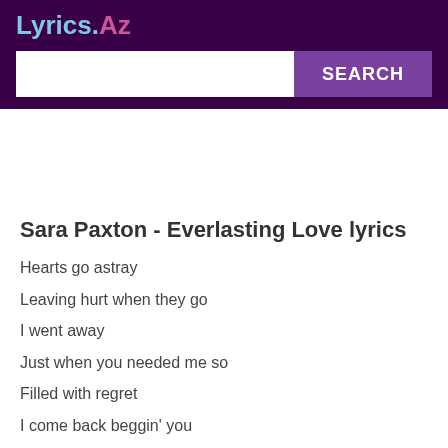Lyrics.Az
Sara Paxton - Everlasting Love lyrics
Hearts go astray
Leaving hurt when they go
I went away
Just when you needed me so
Filled with regret
I come back beggin' you
Forgive, forget
Where's the love we once knew?